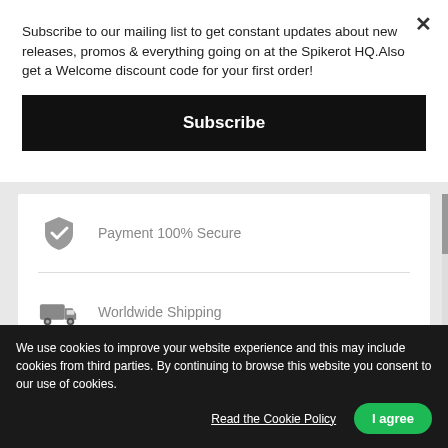Subscribe to our mailing list to get constant updates about new releases, promos & everything going on at the Spikerot HQ.Also get a Welcome discount code for your first order!
Subscribe
[Figure (illustration): Shield with checkmark icon representing secure payment]
Payment 100% Secure
[Figure (illustration): Delivery truck icon representing worldwide shipping]
Worldwide Shipping
PRODUCT DETAILS
We use cookies to improve your website experience and this may include cookies from third parties. By continuing to browse this website you consent to our use of cookies.
Read the Cookie Policy
I agree